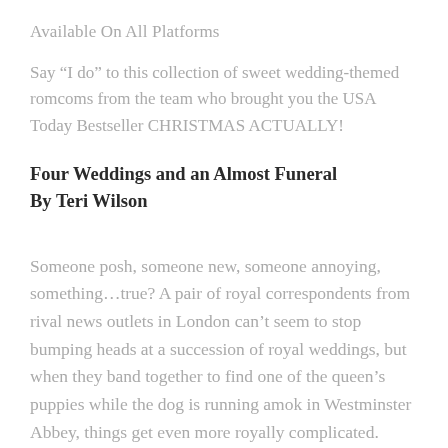Available On All Platforms
Say “I do” to this collection of sweet wedding-themed romcoms from the team who brought you the USA Today Bestseller CHRISTMAS ACTUALLY!
Four Weddings and an Almost Funeral
By Teri Wilson
Someone posh, someone new, someone annoying, something…true? A pair of royal correspondents from rival news outlets in London can’t seem to stop bumping heads at a succession of royal weddings, but when they band together to find one of the queen’s puppies while the dog is running amok in Westminster Abbey, things get even more royally complicated.